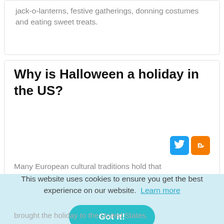jack-o-lanterns, festive gatherings, donning costumes and eating sweet treats.
Why is Halloween a holiday in the US?
Many European cultural traditions hold that
This website uses cookies to ensure you get the best experience on our website. Learn more
Got it!
brought the holiday to the United States.